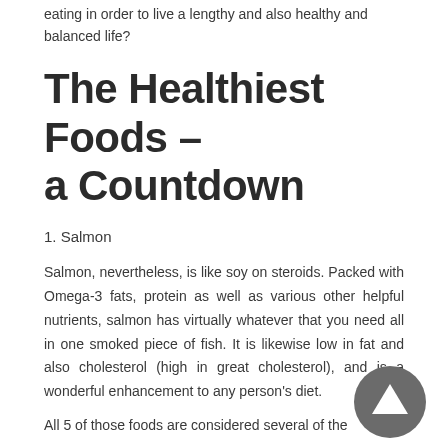eating in order to live a lengthy and also healthy and balanced life?
The Healthiest Foods - a Countdown
1. Salmon
Salmon, nevertheless, is like soy on steroids. Packed with Omega-3 fats, protein as well as various other helpful nutrients, salmon has virtually whatever that you need all in one smoked piece of fish. It is likewise low in fat and also cholesterol (high in great cholesterol), and is a wonderful enhancement to any person's diet.
All 5 of those foods are considered several of the